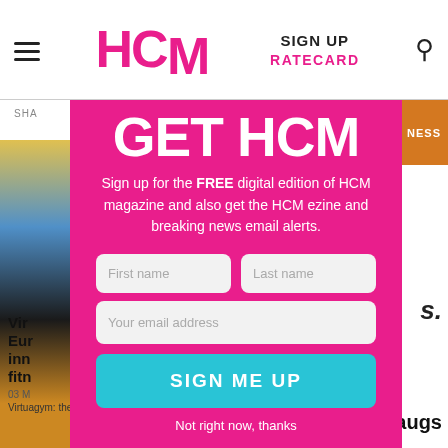HCM  SIGN UP  RATECARD
GET HCM
Sign up for the FREE digital edition of HCM magazine and also get the HCM ezine and breaking news email alerts.
First name
Last name
Your email address
SIGN ME UP
Not right now, thanks